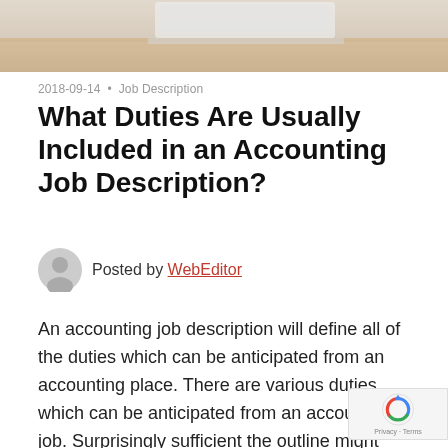[Figure (photo): Blurred photo of a laptop on a wooden desk, top portion visible]
2018-09-14 • Job Description
What Duties Are Usually Included in an Accounting Job Description?
Posted by WebEditor
An accounting job description will define all of the duties which can be anticipated from an accounting place. There are various duties which can be anticipated from an accounting job. Surprisingly sufficient the outline might use considerably obscure language to not scare o the candidate.There are some key phrases wh may clue you into what the job actually entails. It is